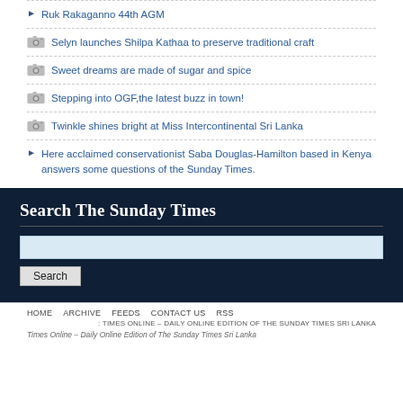Ruk Rakaganno 44th AGM
Selyn launches Shilpa Kathaa to preserve traditional craft
Sweet dreams are made of sugar and spice
Stepping into OGF,the latest buzz in town!
Twinkle shines bright at Miss Intercontinental Sri Lanka
Here acclaimed conservationist Saba Douglas-Hamilton based in Kenya answers some questions of the Sunday Times.
Search The Sunday Times
HOME   ARCHIVE   FEEDS   CONTACT US   RSS
: TIMES ONLINE – DAILY ONLINE EDITION OF THE SUNDAY TIMES SRI LANKA
Times Online – Daily Online Edition of The Sunday Times Sri Lanka